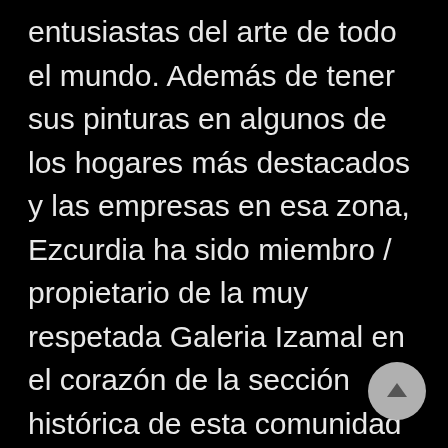entusiastas del arte de todo el mundo. Además de tener sus pinturas en algunos de los hogares más destacados y las empresas en esa zona, Ezcurdia ha sido miembro / propietario de la muy respetada Galeria Izamal en el corazón de la sección histórica de esta comunidad de 500 años de antiguedad, desde 1997. El es también el propietario de un estudio / salón en la fabrica Aurora, una antigua fábrica de ropa y de uniformes que ahora alberga más de 28 galerías de arte, estudios de artistas,